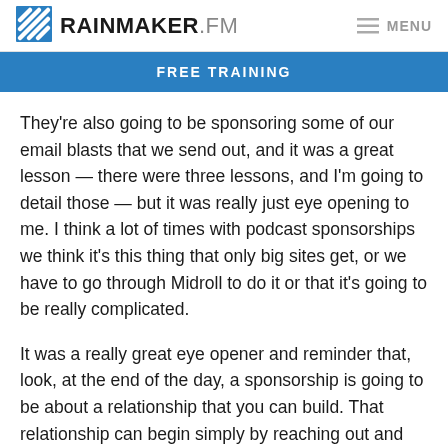RAINMAKER.FM MENU
FREE TRAINING
They’re also going to be sponsoring some of our email blasts that we send out, and it was a great lesson — there were three lessons, and I’m going to detail those — but it was really just eye opening to me. I think a lot of times with podcast sponsorships we think it’s this thing that only big sites get, or we have to go through Midroll to do it or that it’s going to be really complicated.
It was a really great eye opener and reminder that, look, at the end of the day, a sponsorship is going to be about a relationship that you can build. That relationship can begin simply by reaching out and beginning a conversation. That doesn’t mean that you have to have an exact end in mind — and